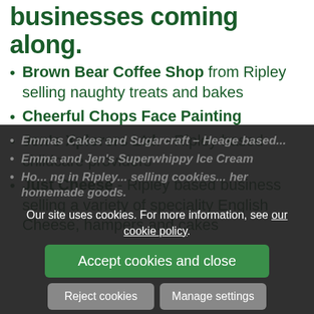businesses coming along.
Brown Bear Coffee Shop from Ripley selling naughty treats and bakes
Cheerful Chops Face Painting
Jen's Xplorers Ltd. - Ripley based childcare providers
Just Cheese - Ripley based business selling a variety of speciality English Cheese, hampers and cakes
Emmas Cakes and Sugarcraft – Heage based...
Emma and Jen's Superwhippy Ice Cream
Ho... ng in Ripley... selling cookies... her homemade goods.
Our site uses cookies. For more information, see our cookie policy.
Accept cookies and close
Reject cookies
Manage settings